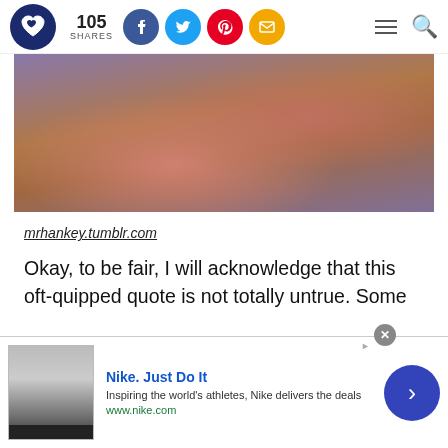105 SHARES
[Figure (photo): Person wearing a purple/lavender hoodie seated on an orange/rust colored sofa, arms crossed, torso only visible]
mrhankey.tumblr.com
Okay, to be fair, I will acknowledge that this oft-quipped quote is not totally untrue. Some
[Figure (other): Advertisement banner: Nike. Just Do It - Inspiring the world's athletes, Nike delivers the deals - www.nike.com]